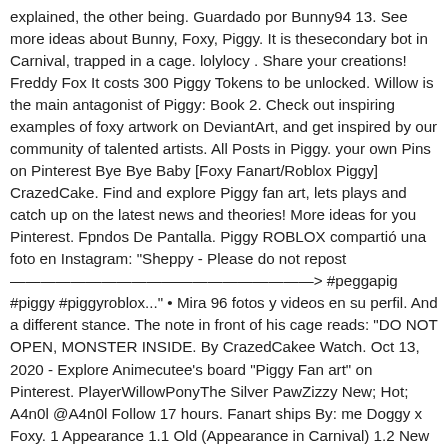explained, the other being. Guardado por Bunny94 13. See more ideas about Bunny, Foxy, Piggy. It is thesecondary bot in Carnival, trapped in a cage. lolylocy . Share your creations! Freddy Fox It costs 300 Piggy Tokens to be unlocked. Willow is the main antagonist of Piggy: Book 2. Check out inspiring examples of foxy artwork on DeviantArt, and get inspired by our community of talented artists. All Posts in Piggy. your own Pins on Pinterest Bye Bye Baby [Foxy Fanart/Roblox Piggy] CrazedCake. Find and explore Piggy fan art, lets plays and catch up on the latest news and theories! More ideas for you Pinterest. Fpndos De Pantalla. Piggy ROBLOX compartió una foto en Instagram: "Sheppy - Please do not repost ————————————————————> #peggapig #piggy #piggyroblox..." • Mira 96 fotos y videos en su perfil. And a different stance. The note in front of his cage reads: "DO NOT OPEN, MONSTER INSIDE. By CrazedCakee Watch. Oct 13, 2020 - Explore Animecutee's board "Piggy Fan art" on Pinterest. PlayerWillowPonyThe Silver PawZizzy New; Hot; A4n0l @A4n0l Follow 17 hours. Fanart ships By: me Doggy x Foxy. 1 Appearance 1.1 Old (Appearance in Carnival) 1.2 New (Revamp by MiniToon) 2 Trivia 3 Extras 4 Music theme Foxy is an orange fox with peach-coloured cheeks. Jun 8, 2020 - This Pin was discovered by No. Pro paint drawing skills. Based On 26 Comments. His stab sound is a roblox audio called knife_stab. Some people mistaken him for Winnie The Pooh. Species Foxy. Weapon Iniciar sesión. Return old style or that's better??? His left pupil is light blue while his right pupil is a bit bigger and is black. Not to be confused with Foxy